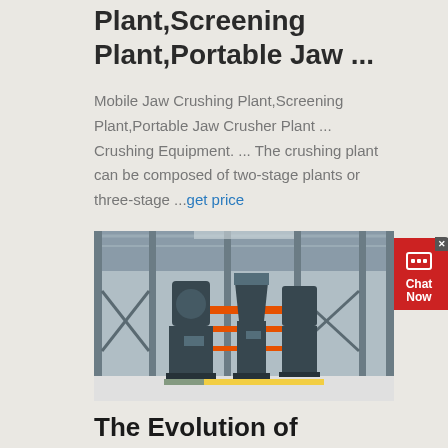Plant,Screening Plant,Portable Jaw ...
Mobile Jaw Crushing Plant,Screening Plant,Portable Jaw Crusher Plant ... Crushing Equipment. ... The crushing plant can be composed of two-stage plants or three-stage ...get price
[Figure (photo): Industrial factory interior showing heavy crushing/grinding machinery — large cylindrical machines on metal frames with orange structural elements, inside a large warehouse with steel roof trusses]
The Evolution of Crushing and Grinding: Changes in the ...
Crushing and grinding processes have undergone significant changes over the last 20 adjustments have